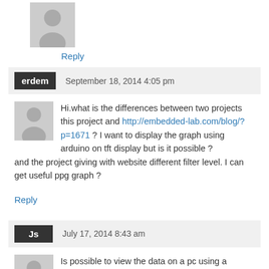[Figure (illustration): Gray placeholder avatar icon (person silhouette)]
Reply
erdem   September 18, 2014 4:05 pm
[Figure (illustration): Gray placeholder avatar icon (person silhouette)]
Hi.what is the differences between two projects this project and http://embedded-lab.com/blog/?p=1671 ? I want to display the graph using arduino on tft display but is it possible ?and the project giving with website different filter level. I can get useful ppg graph ?
Reply
Js   July 17, 2014 8:43 am
[Figure (illustration): Gray placeholder avatar icon (person silhouette)]
Is possible to view the data on a pc using a microcontroller and xbee module interconnection